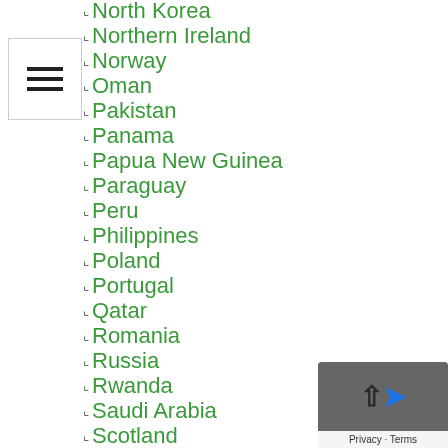North Korea
Northern Ireland
Norway
Oman
Pakistan
Panama
Papua New Guinea
Paraguay
Peru
Philippines
Poland
Portugal
Qatar
Romania
Russia
Rwanda
Saudi Arabia
Scotland
Senegal
Serbia
Sierra Leone
Singapore
Slovakia